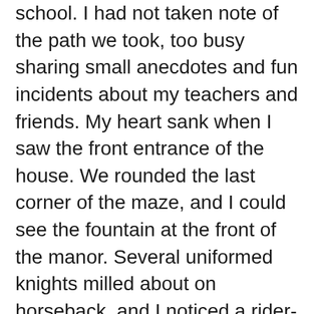school. I had not taken note of the path we took, too busy sharing small anecdotes and fun incidents about my teachers and friends. My heart sank when I saw the front entrance of the house. We rounded the last corner of the maze, and I could see the fountain at the front of the manor. Several uniformed knights milled about on horseback, and I noticed a rider-less horse being held by one of our stable hands. It was an impressive bay steed; his coat glistened in the bright sunlight but at the sight of that gorgeous horse my spirits reached the pit of my stomach. “You’re going already?” I asked, unable to hide my disappointment.
He sighed and nodded.
He had been slowing his pace since before we left